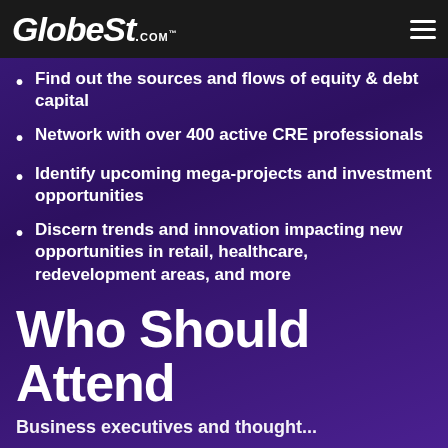GlobeSt.com
Find out the sources and flows of equity & debt capital
Network with over 400 active CRE professionals
Identify upcoming mega-projects and investment opportunities
Discern trends and innovation impacting new opportunities in retail, healthcare, redevelopment areas, and more
Who Should Attend
Business executives and thought...